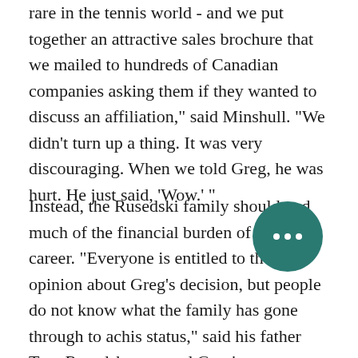rare in the tennis world - and we put together an attractive sales brochure that we mailed to hundreds of Canadian companies asking them if they wanted to discuss an affiliation," said Minshull. "We didn't turn up a thing. It was very discouraging. When we told Greg, he was hurt. He just said, 'Wow.' "
Instead, the Rusedski family shouldered much of the financial burden of Greg's career. "Everyone is entitled to their opinion about Greg's decision, but people do not know what the family has gone through to achieve his status," said his father Tom Rusedski, who managed Greg's career alone until the player enlisted with the International Management